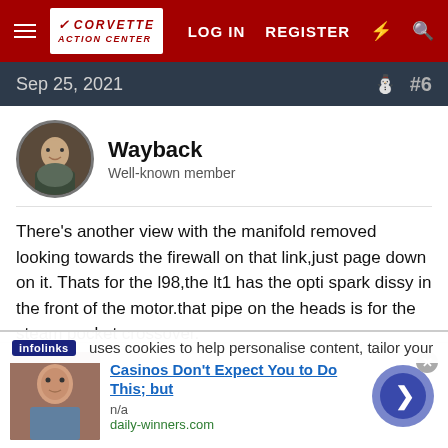Corvette Action Center — LOG IN  REGISTER
Sep 25, 2021  #6
Wayback
Well-known member
There's another view with the manifold removed looking towards the firewall on that link,just page down on it. Thats for the l98,the lt1 has the opti spark dissy in the front of the motor.that pipe on the heads is for the steam pocket crossover.
infolinks  uses cookies to help personalise content, tailor your
Casinos Don't Expect You to Do This; but
n/a
daily-winners.com